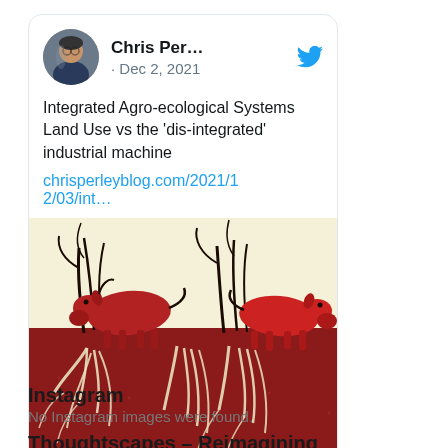[Figure (screenshot): Tweet card from Chris Per... dated Dec 2, 2021, with text about Integrated Agro-ecological Systems Land Use vs the 'dis-integrated' industrial machine, a link to chrisperleyblog.com/2021/12/03/int..., and an image showing stylized red animals (deer/cattle) grazing above and below ground level with root systems visible, rendered in a linocut/woodblock print style]
Instagram
No Instagram images were found.
Thoughtscapes – Reimagining